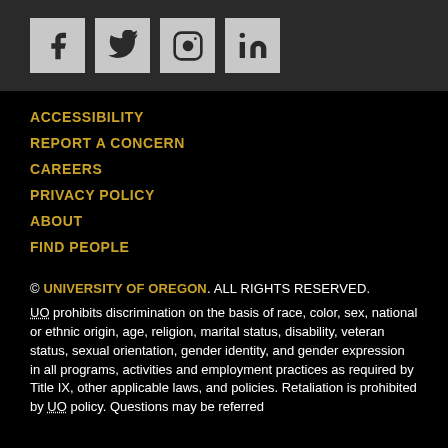[Figure (other): Social media icons: Facebook, Twitter, Instagram, LinkedIn]
ACCESSIBILITY
REPORT A CONCERN
CAREERS
PRIVACY POLICY
ABOUT
FIND PEOPLE
© UNIVERSITY OF OREGON. ALL RIGHTS RESERVED.
UO prohibits discrimination on the basis of race, color, sex, national or ethnic origin, age, religion, marital status, disability, veteran status, sexual orientation, gender identity, and gender expression in all programs, activities and employment practices as required by Title IX, other applicable laws, and policies. Retaliation is prohibited by UO policy. Questions may be referred